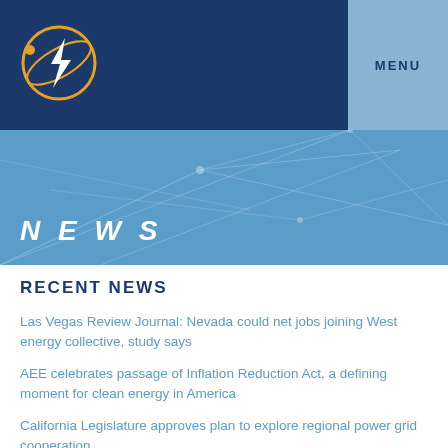MENU
[Figure (logo): Lightning bolt in a circle with orbital ring — energy/electricity logo in orange and white on dark blue background]
NEWS
RECENT NEWS
Las Vegas Review Journal: Nevada could net jobs joining West energy collective, study says
AEE celebrates passage of Inflation Reduction Act, a defining moment for clean energy in America
California Legislature approves plan to explore regional power grid cooperation